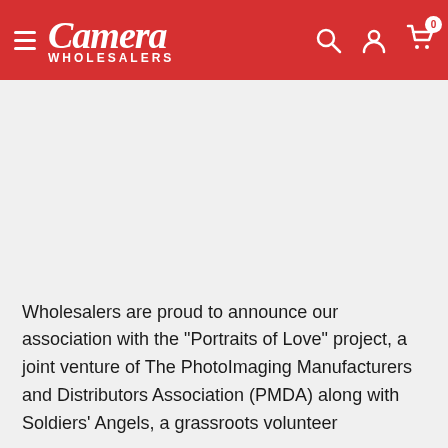Camera Wholesalers
Wholesalers are proud to announce our association with the "Portraits of Love" project, a joint venture of The PhotoImaging Manufacturers and Distributors Association (PMDA) along with Soldiers' Angels, a grassroots volunteer